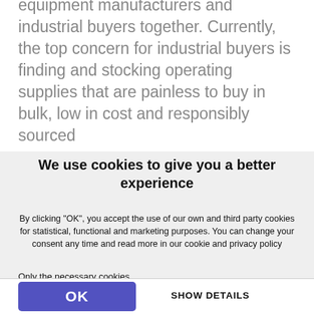equipment manufacturers and industrial buyers together. Currently, the top concern for industrial buyers is finding and stocking operating supplies that are painless to buy in bulk, low in cost and responsibly sourced
We use cookies to give you a better experience
By clicking "OK", you accept the use of our own and third party cookies for statistical, functional and marketing purposes. You can change your consent any time and read more in our cookie and privacy policy
Only the necessary cookies
OK
SHOW DETAILS